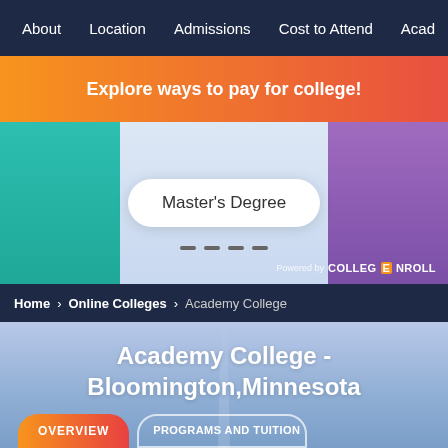About  Location  Admissions  Cost to Attend  Acad
[Figure (screenshot): Orange-red gradient banner with text 'Explore ways to pay for college!']
Master's Degree
Powered by COLLEGE NROLL
Home > Online Colleges > Academy College
Academy College - Bloomington,Minnesota
OVERVIEW   PROGRAMS AND TUITION